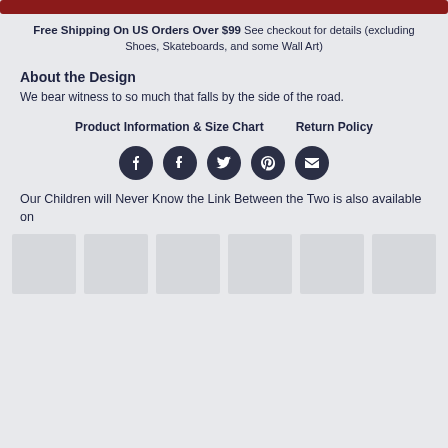[Figure (other): Red/dark red horizontal bar at the top]
Free Shipping On US Orders Over $99 See checkout for details (excluding Shoes, Skateboards, and some Wall Art)
About the Design
We bear witness to so much that falls by the side of the road.
Product Information & Size Chart    Return Policy
[Figure (other): Social media icons row: Facebook, Tumblr, Twitter, Pinterest, Email]
Our Children will Never Know the Link Between the Two is also available on
[Figure (other): Row of 6 thumbnail product images (shown as grey placeholder boxes)]